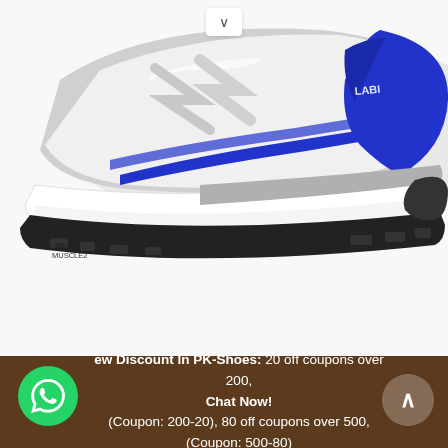[Figure (photo): Close-up side view of a white and blue athletic sneaker/shoe with blue stripe accents, grey mesh upper, white midsole, and black outsole. The shoe has 'ac.2 MUSCLE2' text on the side. Product photo on white background.]
New Discount In PK-Shoes: 20 off coupons over 200, (Coupon: 200-20), 80 off coupons over 500, (Coupon: 500-80)